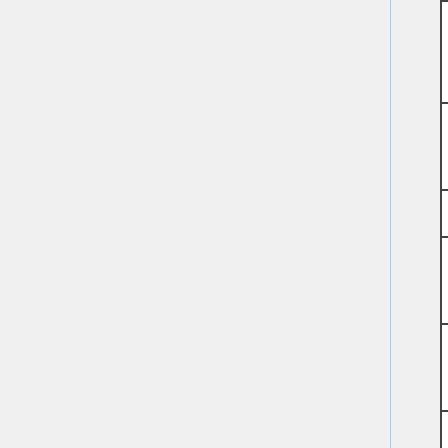| Unit | Details |
| --- | --- |
| (continued from previous) | Bu... |
| 34th Company (Tagalogs) |  |
| Fourth Battalion |  |
| Headquarters and Band | C |
| 41st Company (Visayans) | C |
| 43rd Company (Visayans) | C |
| 48th Company (Visayans) |  |